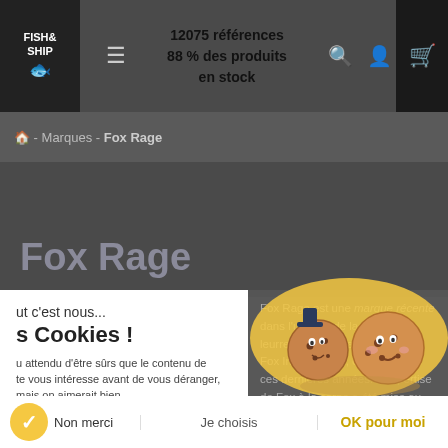[Figure (screenshot): Fish & Ship e-commerce website header with logo, hamburger menu, '12075 références 88 % des produits en stock' text, search, user, and cart icons]
🏠 - Marques - Fox Rage
Fox Rage
ut c'est nous...
s Cookies !
u attendu d'être sûrs que le contenu de
te vous intéresse avant de vous déranger, mais on aimerait bien
s accompagner pendant votre visite.
t OK pour vous ?
Consentements certifiés par Oxeptio
Fox Rage est une marque récente dans l'univers de la pêche aux leurres, appartenant au groupe Fox International, elle a explosé ces dernières années. L'expertise de Fox à la carpe a été mise au service de la pêche des carnassiers aux leurres
Non merci
Je choisis
OK pour moi